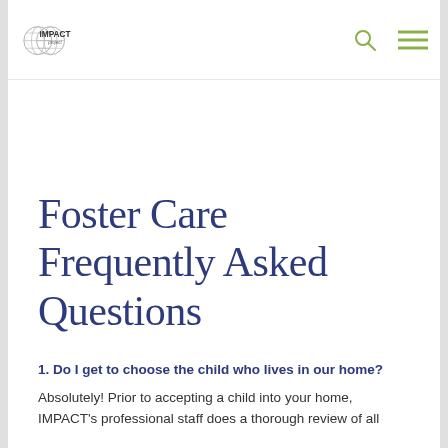IMPACT project logo with navigation search and menu icons
Foster Care Frequently Asked Questions
1. Do I get to choose the child who lives in our home?
Absolutely! Prior to accepting a child into your home, IMPACT's professional staff does a thorough review of all